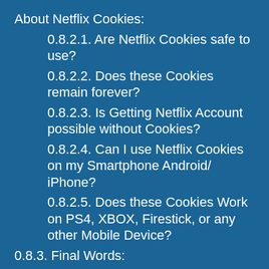About Netflix Cookies:
0.8.2.1. Are Netflix Cookies safe to use?
0.8.2.2. Does these Cookies remain forever?
0.8.2.3. Is Getting Netflix Account possible without Cookies?
0.8.2.4. Can I use Netflix Cookies on my Smartphone Android/ iPhone?
0.8.2.5. Does these Cookies Work on PS4, XBOX, Firestick, or any other Mobile Device?
0.8.3. Final Words:
0.8.4. The links and Article is